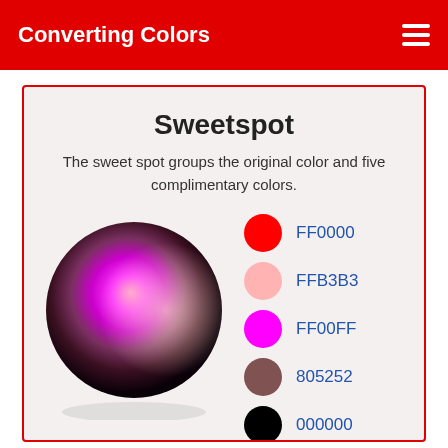Converting Colors
Sweetspot
The sweet spot groups the original color and five complimentary colors.
[Figure (illustration): A 3D sphere with a gradient blending magenta/pink/red tones with dark brown-black shadows, rendered as a glossy ball.]
FF0000
FFB3B3
FF00FF
805252
000000
808080